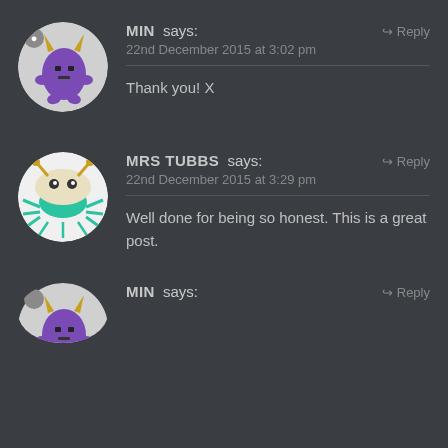[Figure (illustration): Round avatar with purple monster character with horns on dark grey background]
MIN says:
Reply
22nd December 2015 at 3:02 pm
Thank you! X
[Figure (illustration): Round avatar with green crab/spider creature on white background]
MRS TUBBS says:
Reply
22nd December 2015 at 3:29 pm
Well done for being so honest. This is a great post.
[Figure (illustration): Round avatar with purple monster character with horns, partially visible at bottom]
MIN says:
Reply